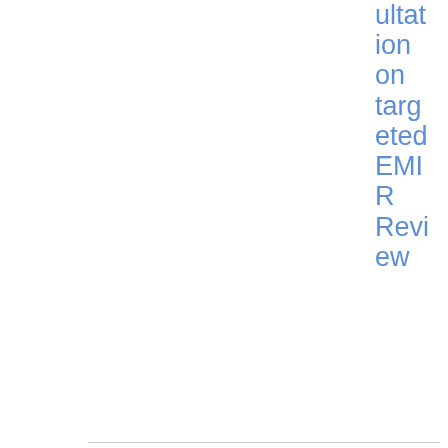ultation on targeted EMIR Review
| Date | Reference | Title | Topic | Type | Download |
| --- | --- | --- | --- | --- | --- |
| 02/09/2021 | ESMA 81-459-6 | Letter from Chairman of EUR Risk Free Rates WG to | Benchmarks | Letter | PDF 41 4.8 KB |